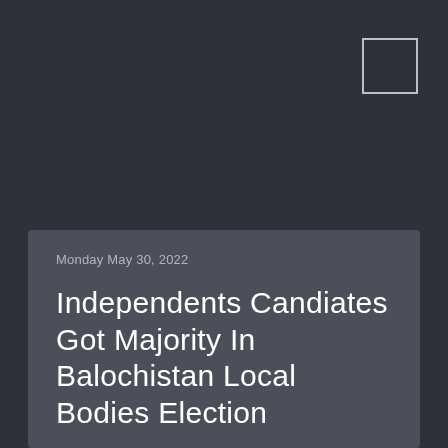Monday May 30, 2022
Independents Candiates Got Majority In Balochistan Local Bodies Election